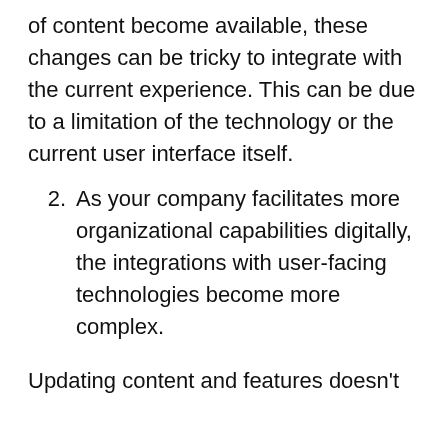of content become available, these changes can be tricky to integrate with the current experience. This can be due to a limitation of the technology or the current user interface itself.
2. As your company facilitates more organizational capabilities digitally, the integrations with user-facing technologies become more complex.
Updating content and features doesn't